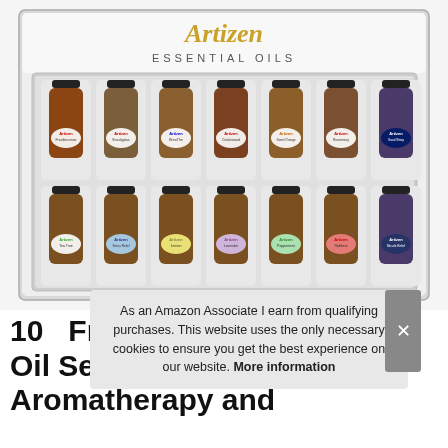[Figure (photo): Product photo of Artizen Essential Oils set showing 14 small amber glass bottles with black caps in a white gift box, arranged in two rows. The brand logo reads 'Artizen ESSENTIAL OILS' at top. Bottom row includes Tea Tree, Stress Relief, Lemon, Lavender, Peppermint, Robbers, Muscle Relief. Top row includes Frankincense, Eucalyptus, Breathe, Cedarwood, Sweet Orange, Rosemary, Good Sleep.]
As an Amazon Associate I earn from qualifying purchases. This website uses the only necessary cookies to ensure you get the best experience on our website. More information
10 ... Fra... Oil Set for Diffuser, Aromatherapy and